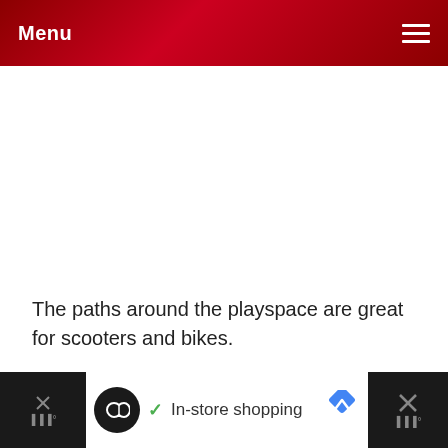Menu
The paths around the playspace are great for scooters and bikes.
[Figure (screenshot): Advertisement banner showing a black circle icon with infinity-like symbol, a green checkmark, 'In-store shopping' text, and a blue navigation/directions diamond icon on white background. Right side has a dark close button with X.]